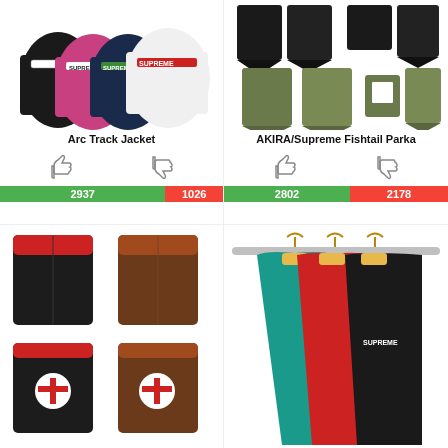[Figure (photo): Arc Track Jacket product photo showing multiple colors including black, pink, navy, and white with Supreme branding]
Arc Track Jacket
[Figure (infographic): Thumbs up and thumbs down vote icons with green bar showing 2937 and red bar showing 1026]
[Figure (photo): AKIRA/Supreme Fishtail Parka product photo showing black and olive colorways]
AKIRA/Supreme Fishtail Parka
[Figure (infographic): Thumbs up and thumbs down vote icons with green bar showing 2802 and red bar showing 2178]
[Figure (photo): Independent x Supreme coach jacket in black and brown with cross logo on back]
[Figure (photo): Three jackets hanging on a rack in teal, red, and black]